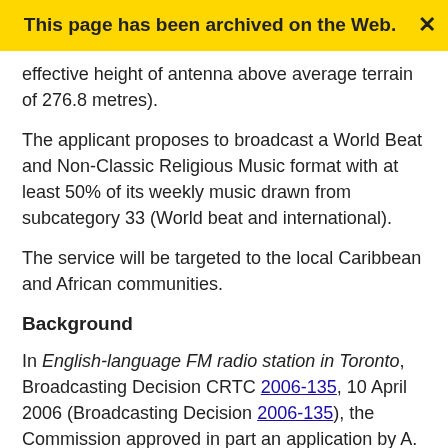This page has been archived on the Web.
effective height of antenna above average terrain of 276.8 metres).
The applicant proposes to broadcast a World Beat and Non-Classic Religious Music format with at least 50% of its weekly music drawn from subcategory 33 (World beat and international).
The service will be targeted to the local Caribbean and African communities.
Background
In English-language FM radio station in Toronto, Broadcasting Decision CRTC 2006-135, 10 April 2006 (Broadcasting Decision 2006-135), the Commission approved in part an application by A. Fitzroy Gordon, on behalf of a corporation to be incorporated, for a broadcasting licence to operate an English-language commercial specialty FM radio station in Toronto. The